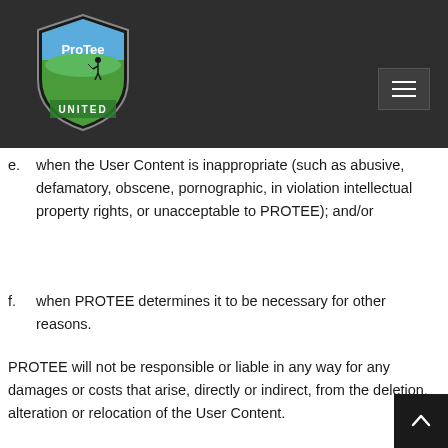[Figure (logo): ProTee United golf logo — shield shape with blue sky, golfer silhouette, green hills, and 'ProTee UNITED' text]
e. when the User Content is inappropriate (such as abusive, defamatory, obscene, pornographic, in violation intellectual property rights, or unacceptable to PROTEE); and/or
f. when PROTEE determines it to be necessary for other reasons.
PROTEE will not be responsible or liable in any way for any damages or costs that arise, directly or indirect, from the deletion, alteration or relocation of the User Content.